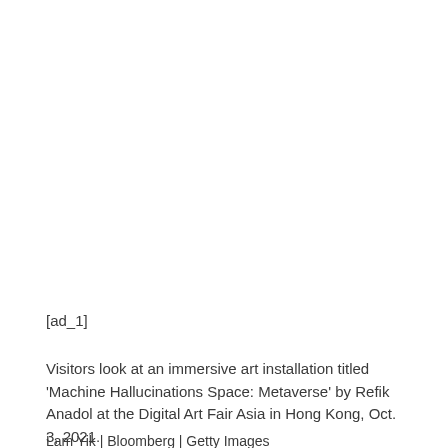[ad_1]
Visitors look at an immersive art installation titled 'Machine Hallucinations Space: Metaverse' by Refik Anadol at the Digital Art Fair Asia in Hong Kong, Oct. 3, 2021.
Lam Yik | Bloomberg | Getty Images